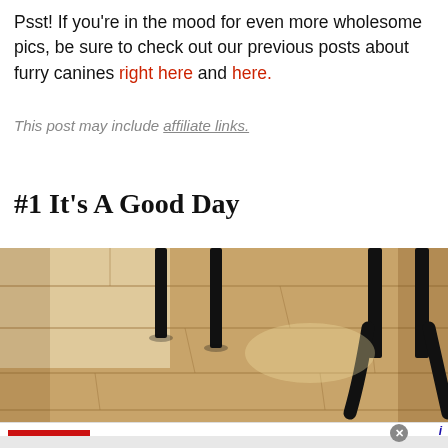Psst! If you're in the mood for even more wholesome pics, be sure to check out our previous posts about furry canines right here and here.
This post may include affiliate links.
#1 It's A Good Day
[Figure (photo): Close-up photo of wooden floor planks with black metal furniture legs visible, warm brown tones.]
[Figure (infographic): Macy's advertisement banner: 'Up to 20% off Macys', 'Save up to 20% and get free shipping at Macys.com', macys.com, with Macy's logo on red background and blue arrow button.]